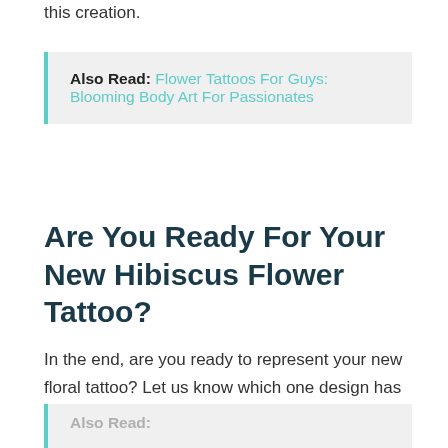this creation.
Also Read: Flower Tattoos For Guys: Blooming Body Art For Passionates
Are You Ready For Your New Hibiscus Flower Tattoo?
In the end, are you ready to represent your new floral tattoo? Let us know which one design has stood out in your opinion, and which one you can't wait to get tattooed!
Also Read: